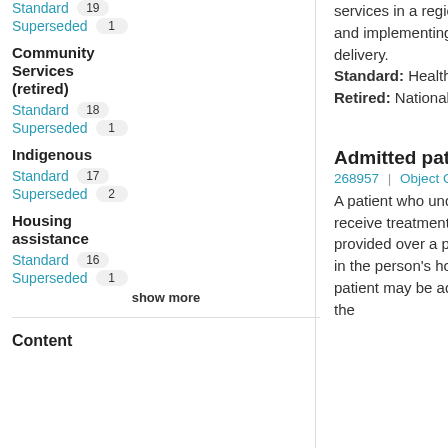Standard 19
Superseded 1
Community Services (retired)
Standard 18
Superseded 1
Indigenous
Standard 17
Superseded 2
Housing assistance
Standard 16
Superseded 1
show more
Content
services in a region, area, district or zone, and for developing and implementing strategic and other plans for health service delivery. Standard: Health Retired: National Health Performance Authority (retired)
Admitted patient
268957 | Object Class
A patient who undergoes a hospital's admission process to receive treatment and/or care. This treatment and/or care is provided over a period of time and can occur in hospital and/or in the person's home (for hospital-in-the-home patients). The patient may be admitted if one or more of the following apply: the